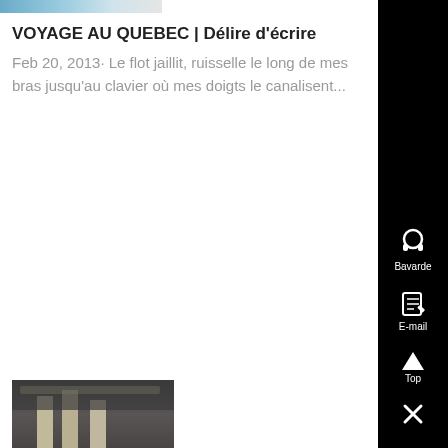[Figure (photo): Partial top image showing blue/teal and light colors, cropped]
VOYAGE AU QUEBEC | Délire d'écrire
Feb 20, 2013· Le flot jaillit, ruisselle le long de mes bras jusqu'au clavier où mes doigts le canalisent...
[Figure (photo): Industrial interior with concrete pillars and machinery in a warehouse]
[Figure (screenshot): Sidebar with headphone icon labeled Bavarde, email icon labeled E-mail, up arrow labeled Top, and X close button]